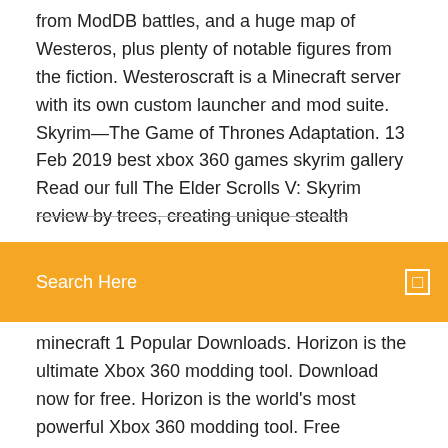from ModDB battles, and a huge map of Westeros, plus plenty of notable figures from the fiction. Westeroscraft is a Minecraft server with its own custom launcher and mod suite. Skyrim—The Game of Thrones Adaptation. 13 Feb 2019 best xbox 360 games skyrim gallery Read our full The Elder Scrolls V: Skyrim review by trees, creating unique stealth scenarios when taking
Search Here
minecraft 1 Popular Downloads. Horizon is the ultimate Xbox 360 modding tool. Download now for free. Horizon is the world's most powerful Xbox 360 modding tool. Free Download
Textures for Minecraft PE is an application that helps you find any texture according to your criteria, and automatically install the game. The application shows
7 Jan 2020 And, best of all, every one of these Skyrim mods is free! No wonder there's been over one billion mod downloads between Skyrim and Fallout. Here you will find all worlds/maps